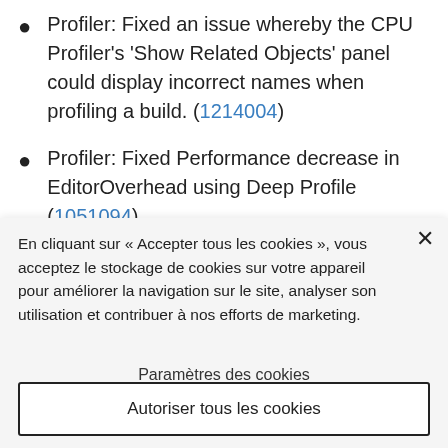Profiler: Fixed an issue whereby the CPU Profiler's 'Show Related Objects' panel could display incorrect names when profiling a build. (1214004)
Profiler: Fixed Performance decrease in EditorOverhead using Deep Profile (1051094)
Scripting: Check if scripting is shutting down to
En cliquant sur « Accepter tous les cookies », vous acceptez le stockage de cookies sur votre appareil pour améliorer la navigation sur le site, analyser son utilisation et contribuer à nos efforts de marketing.
Paramètres des cookies
Autoriser tous les cookies